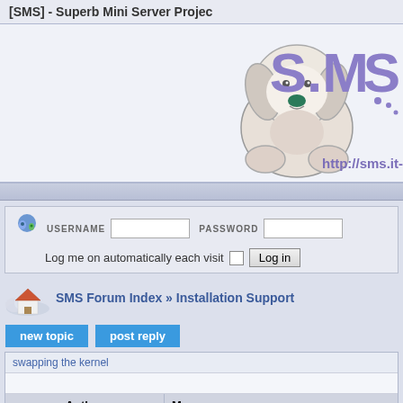[SMS] - Superb Mini Server Projec
[Figure (screenshot): SMS forum banner with cartoon dog mascot, SMS logo text in purple, and url http://sms.it-]
USERNAME  PASSWORD  Log me on automatically each visit  Log in
SMS Forum Index » Installation Support
new topic  post reply
swapping the kernel
| Author | Me |
| --- | --- |
| saluo
Junior Member

Joined: 27 Mar 2012
Posts: 2 | Posted: Sat May 12, 2012 6:20 pm    Post subject: sw

I have a sms with kernet 3.2..14 and I tried replace the
All during the installation of was successful (script insta |